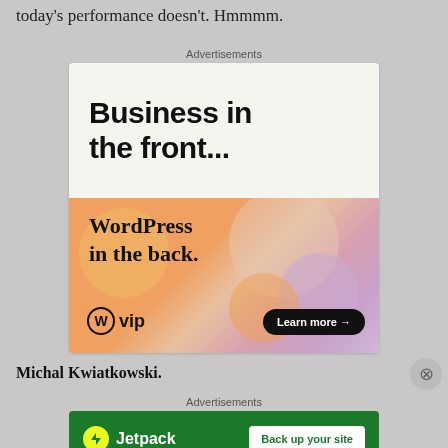today's performance doesn't. Hmmmm.
Advertisements
[Figure (screenshot): WordPress VIP advertisement showing 'Business in the front... WordPress in the back.' with a Learn more button and colorful gradient background]
Michal Kwiatkowski.
Advertisements
[Figure (screenshot): Jetpack advertisement with green background showing Jetpack logo and 'Back up your site' button]